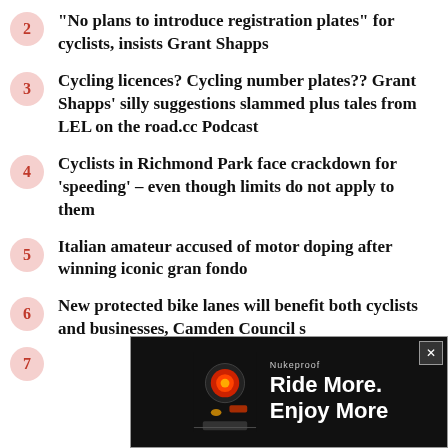2 “No plans to introduce registration plates” for cyclists, insists Grant Shapps
3 Cycling licences? Cycling number plates?? Grant Shapps' silly suggestions slammed plus tales from LEL on the road.cc Podcast
4 Cyclists in Richmond Park face crackdown for ‘speeding’ – even though limits do not apply to them
5 Italian amateur accused of motor doping after winning iconic gran fondo
6 New protected bike lanes will benefit both cyclists and businesses, Camden Council s
7 [partially obscured by advertisement]
[Figure (photo): Advertisement overlay showing a bicycle tail light with text 'Ride More. Enjoy More' on a dark background, with a close button.]